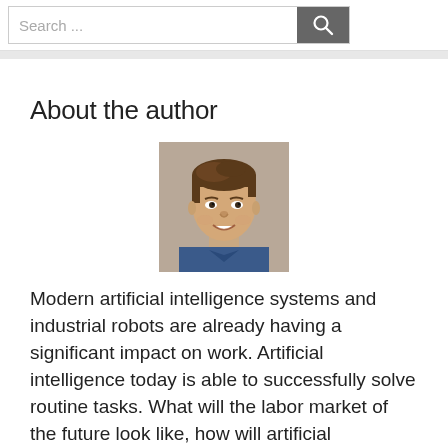Search ...
About the author
[Figure (photo): Headshot of a young man with brown hair, smiling, wearing a blue shirt, against a neutral background.]
Modern artificial intelligence systems and industrial robots are already having a significant impact on work. Artificial intelligence today is able to successfully solve routine tasks. What will the labor market of the future look like, how will artificial intelligence affect the legal system?